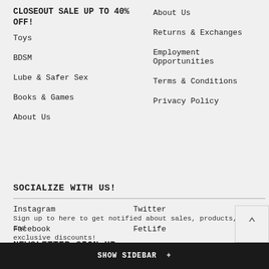CLOSEOUT SALE UP TO 40% OFF!
Toys
BDSM
Lube & Safer Sex
Books & Games
About Us
About Us
Returns & Exchanges
Employment Opportunities
Terms & Conditions
Privacy Policy
SOCIALIZE WITH US!
Instagram
Facebook
Twitter
FetLife
NEWSLETTER SIGN UP
Sign up to here to get notified about sales, products, and exclusive discounts!
SHOW SIDEBAR +